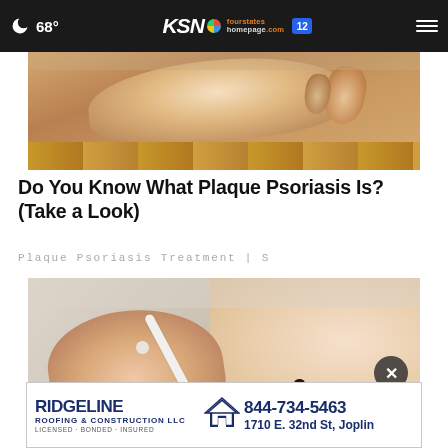68° KSN fourstates homepage.com 12
[Figure (photo): Close-up photo of a human foot/heel area on a wooden floor background, showing psoriasis-affected skin]
Do You Know What Plaque Psoriasis Is? (Take a Look)
Plaque Psoriasis Treatment | S
[Figure (photo): Close-up photo of a hand holding a cotton swab near a mole/skin spot on a person's skin, related to plaque psoriasis treatment]
RIDGELINE ROOFING & CONSTRUCTION LLC LICENSED · BONDED · INSURED 844-734-5463 1710 E. 32nd St, Joplin